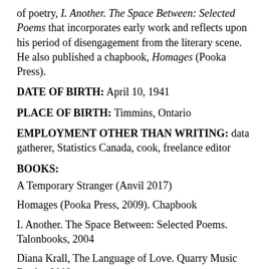of poetry, I. Another. The Space Between: Selected Poems that incorporates early work and reflects upon his period of disengagement from the literary scene. He also published a chapbook, Homages (Pooka Press).
DATE OF BIRTH: April 10, 1941
PLACE OF BIRTH: Timmins, Ontario
EMPLOYMENT OTHER THAN WRITING: data gatherer, Statistics Canada, cook, freelance editor
BOOKS:
A Temporary Stranger (Anvil 2017)
Homages (Pooka Press, 2009). Chapbook
I. Another. The Space Between: Selected Poems. Talonbooks, 2004
Diana Krall, The Language of Love. Quarry Music Books, 2002
Mad Boys. Coach House Books, 1997 (poetry)